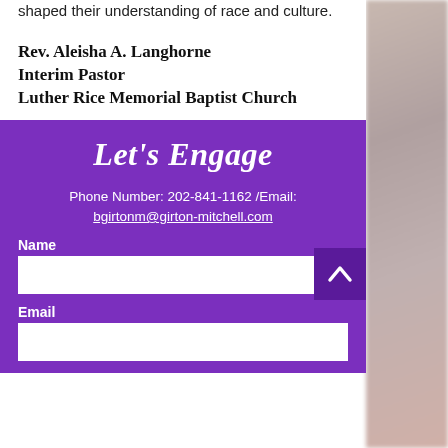shaped their understanding of race and culture.
Rev. Aleisha A. Langhorne
Interim Pastor
Luther Rice Memorial Baptist Church
Let's Engage
Phone Number: 202-841-1162 /Email: bgirtonm@girton-mitchell.com
Name
Email